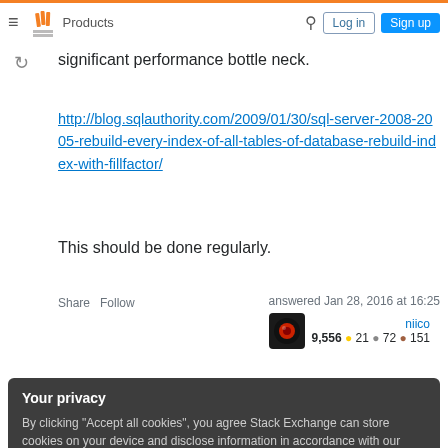Stack Overflow navigation: hamburger menu, logo, Products, search, Log in, Sign up
significant performance bottle neck.
http://blog.sqlauthority.com/2009/01/30/sql-server-2008-2005-rebuild-every-index-of-all-tables-of-database-rebuild-index-with-fillfactor/
This should be done regularly.
Share   Follow      answered Jan 28, 2016 at 16:25   niico  9,556 ● 21 ● 72 ● 151
Your privacy
By clicking "Accept all cookies", you agree Stack Exchange can store cookies on your device and disclose information in accordance with our Cookie Policy.
Accept all cookies   Customize settings
We encountered this error after an upgrade from